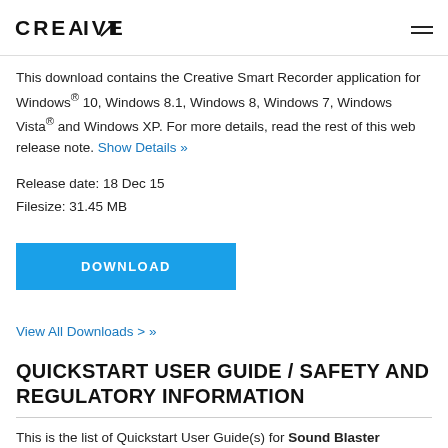CREATIVE
This download contains the Creative Smart Recorder application for Windows® 10, Windows 8.1, Windows 8, Windows 7, Windows Vista® and Windows XP. For more details, read the rest of this web release note. Show Details »
Release date: 18 Dec 15
Filesize: 31.45 MB
DOWNLOAD
View All Downloads > »
QUICKSTART USER GUIDE / SAFETY AND REGULATORY INFORMATION
This is the list of Quickstart User Guide(s) for Sound Blaster